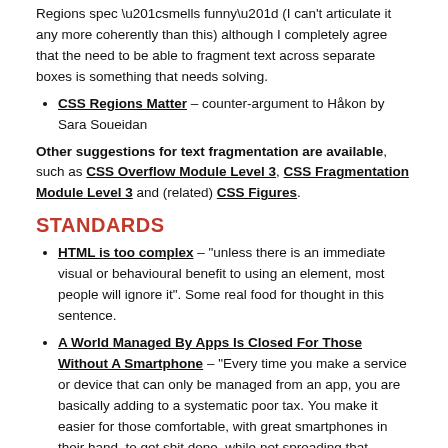Regions spec “smells funny” (I can't articulate it any more coherently than this) although I completely agree that the need to be able to fragment text across separate boxes is something that needs solving.
CSS Regions Matter – counter-argument to Håkon by Sara Soueidan
Other suggestions for text fragmentation are available, such as CSS Overflow Module Level 3, CSS Fragmentation Module Level 3 and (related) CSS Figures.
STANDARDS
HTML is too complex – “unless there is an immediate visual or behavioural benefit to using an element, most people will ignore it”. Some real food for thought in this sentence.
A World Managed By Apps Is Closed For Those Without A Smartphone – “Every time you make a service or device that can only be managed from an app, you are basically adding to a systematic poor tax. You make it easier for those comfortable, with great smartphones in their hand, to get shit done, while not spreading that benefit to those without the magic box. You deepen economic entrenchment.”